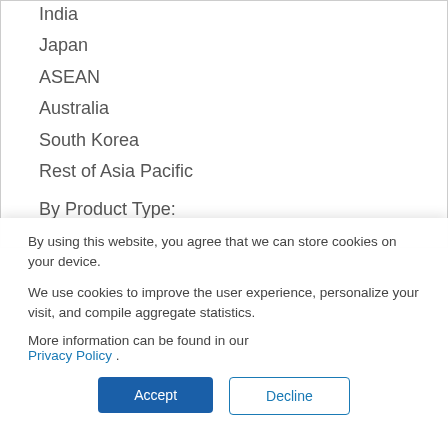India
Japan
ASEAN
Australia
South Korea
Rest of Asia Pacific
By Product Type:
By using this website, you agree that we can store cookies on your device.
We use cookies to improve the user experience, personalize your visit, and compile aggregate statistics.
More information can be found in our Privacy Policy .
Accept
Decline